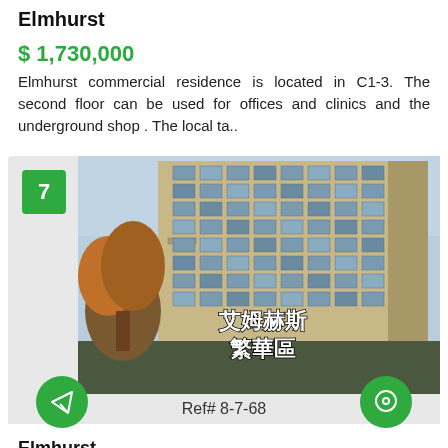Elmhurst
$ 1,730,000
Elmhurst commercial residence is located in C1-3. The second floor can be used for offices and clinics and the underground shop . The local ta..
[Figure (photo): Exterior photo of a tall multi-story beige/tan apartment building in Elmhurst with balconies, trees in foreground, Chinese text overlay reading 艾姆赫斯 繁華區, and green number badge '7' in top left corner]
Ref# 8-7-68
Elmhurst